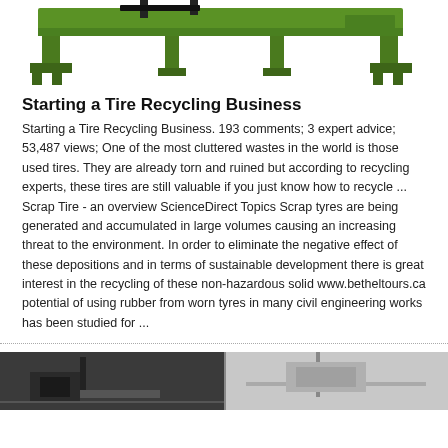[Figure (photo): Green industrial tire recycling machine on white background, partially cropped at top]
Starting a Tire Recycling Business
Starting a Tire Recycling Business. 193 comments; 3 expert advice; 53,487 views; One of the most cluttered wastes in the world is those used tires. They are already torn and ruined but according to recycling experts, these tires are still valuable if you just know how to recycle ... Scrap Tire - an overview ScienceDirect Topics Scrap tyres are being generated and accumulated in large volumes causing an increasing threat to the environment. In order to eliminate the negative effect of these depositions and in terms of sustainable development there is great interest in the recycling of these non-hazardous solid www.betheltours.ca potential of using rubber from worn tyres in many civil engineering works has been studied for ...
[Figure (photo): Dark industrial machinery photo, partially cropped at bottom of page]